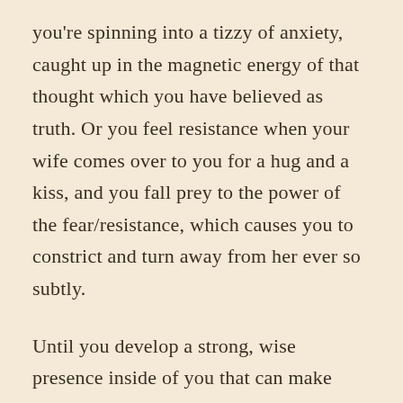you're spinning into a tizzy of anxiety, caught up in the magnetic energy of that thought which you have believed as truth. Or you feel resistance when your wife comes over to you for a hug and a kiss, and you fall prey to the power of the fear/resistance, which causes you to constrict and turn away from her ever so subtly.
Until you develop a strong, wise presence inside of you that can make choices based on clear intellect and values rather than fleeting thoughts and feelings you will be buffeted around by the fleeting thoughts and feelings that float past like leaves passing inside a wind...